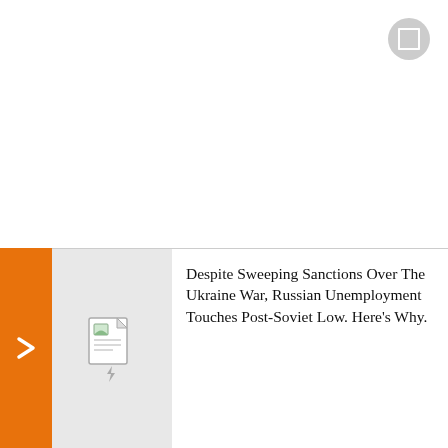[Figure (screenshot): Expand/fullscreen button in top right corner, circular gray button with square outline icon]
[Figure (screenshot): Thumbnail placeholder image with document and flash/lightning icon]
Despite Sweeping Sanctions Over The Ukraine War, Russian Unemployment Touches Post-Soviet Low. Here's Why.
Dmitry Sablin